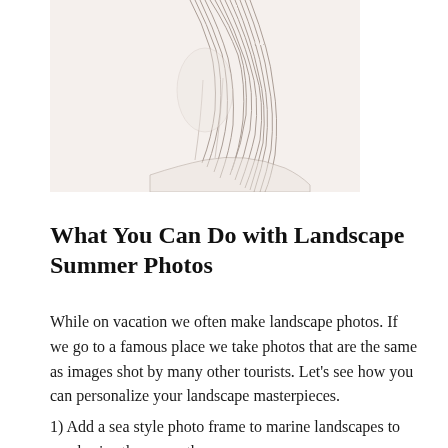[Figure (illustration): Pencil sketch of a woman with long flowing hair, partial figure, light gray tones on white background]
What You Can Do with Landscape Summer Photos
While on vacation we often make landscape photos. If we go to a famous place we take photos that are the same as images shot by many other tourists. Let’s see how you can personalize your landscape masterpieces.
1) Add a sea style photo frame to marine landscapes to emphasize the ocean theme.